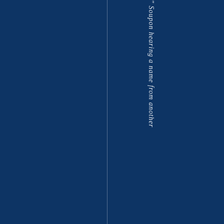" Soupon hearing a name from another